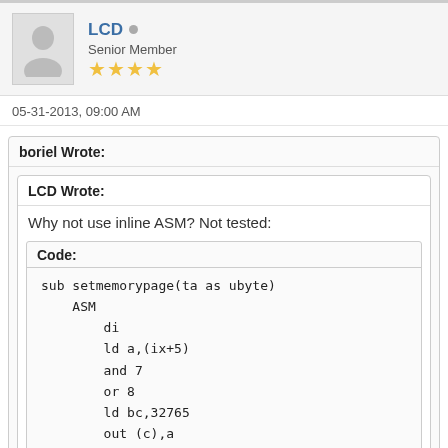LCD • Senior Member ★★★★
05-31-2013, 09:00 AM
boriel Wrote:
LCD Wrote:
Why not use inline ASM? Not tested:
Code:
sub setmemorypage(ta as ubyte)
    ASM
        di
        ld a,(ix+5)
        and 7
        or 8
        ld bc,32765
        out (c),a
        ld (23388),a